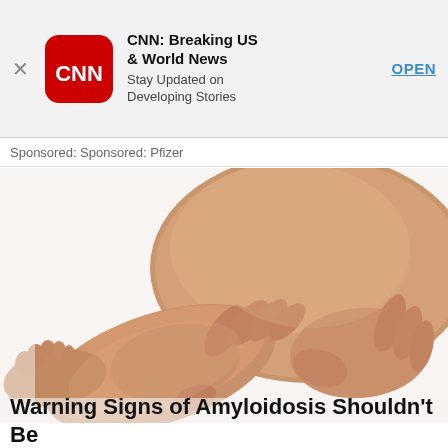[Figure (screenshot): CNN app advertisement banner with red rounded square CNN logo, bold title 'CNN: Breaking US & World News', subtitle 'Stay Updated on Developing Stories', and blue 'OPEN' link. A gray X close button is on the left.]
Sponsored: Sponsored: Pfizer
[Figure (photo): Close-up photo of two hands squeezing/pressing a lower leg and ankle area, suggesting examination of swelling or pitting edema, on a white background. A foot with toes is visible on the left.]
Warning Signs of Amyloidosis Shouldn't Be Ignored